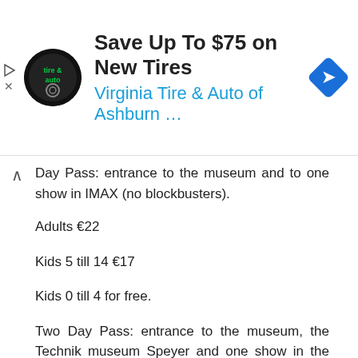[Figure (advertisement): Ad banner for Virginia Tire & Auto of Ashburn with circular logo, headline 'Save Up To $75 on New Tires', subtitle 'Virginia Tire & Auto of Ashburn ...', and a blue diamond navigation icon on the right.]
Day Pass: entrance to the museum and to one show in IMAX (no blockbusters).
Adults €22
Kids 5 till 14 €17
Kids 0 till 4 for free.
Two Day Pass: entrance to the museum, the Technik museum Speyer and one show in the IMAX at Sinsheim or Speyer (no blockbusters).
Adults €40
Kids 5 till 14 €30